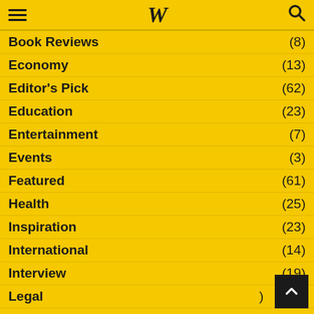W (logo navigation header)
Book Reviews (8)
Economy (13)
Editor's Pick (62)
Education (23)
Entertainment (7)
Events (3)
Featured (61)
Health (25)
Inspiration (23)
International (14)
Interview (19)
Legal (...)